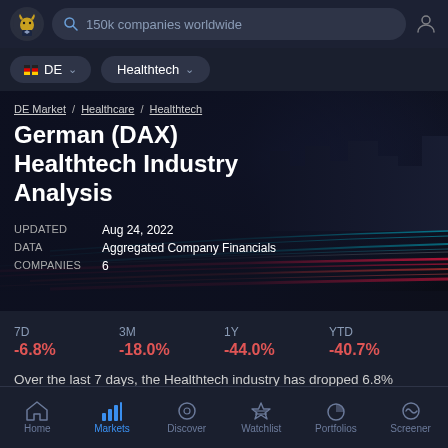150k companies worldwide
DE | Healthtech
DE Market / Healthcare / Healthtech
German (DAX) Healthtech Industry Analysis
UPDATED  Aug 24, 2022
DATA  Aggregated Company Financials
COMPANIES  6
| 7D | 3M | 1Y | YTD |
| --- | --- | --- | --- |
| -6.8% | -18.0% | -44.0% | -40.7% |
Over the last 7 days, the Healthtech industry has dropped 6.8%
Home  Markets  Discover  Watchlist  Portfolios  Screener